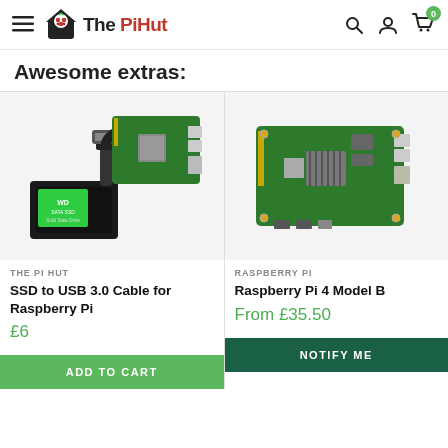The PiHut — navigation bar with hamburger menu, logo, search, account, cart (0)
Awesome extras:
[Figure (photo): SSD to USB 3.0 Cable for Raspberry Pi — product photo showing a green WD SATA SSD with USB 3.0 cable adapter and a Raspberry Pi board]
THE PI HUT
SSD to USB 3.0 Cable for Raspberry Pi
£6
[Figure (photo): Raspberry Pi 4 Model B board — product photo showing the green PCB with ports, GPIO header, and chips]
RASPBERRY PI
Raspberry Pi 4 Model B
From £35.50